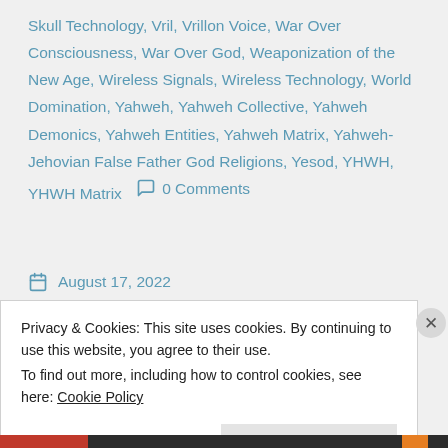Skull Technology, Vril, Vrillon Voice, War Over Consciousness, War Over God, Weaponization of the New Age, Wireless Signals, Wireless Technology, World Domination, Yahweh, Yahweh Collective, Yahweh Demonics, Yahweh Entities, Yahweh Matrix, Yahweh-Jehovian False Father God Religions, Yesod, YHWH, YHWH Matrix    💬 0 Comments
August 17, 2022
Privacy & Cookies: This site uses cookies. By continuing to use this website, you agree to their use. To find out more, including how to control cookies, see here: Cookie Policy